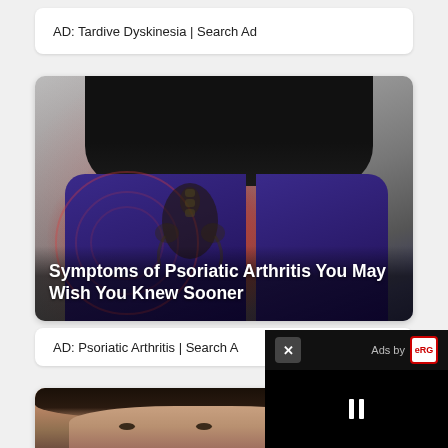AD: Tardive Dyskinesia | Search Ad
[Figure (photo): Medical illustration showing a person with hip/joint pain highlighted in red with ripple effect. Person wearing black shirt and purple pants. Text overlay reads: Symptoms of Psoriatic Arthritis You May Wish You Knew Sooner]
Symptoms of Psoriatic Arthritis You May Wish You Knew Sooner
AD: Psoriatic Arthritis | Search A
[Figure (photo): Partial view of woman's face with dark hair and light eyes, cropped at bottom of page]
[Figure (screenshot): Floating video player overlay in bottom right corner showing a black video area with pause button, X close button, and Ads by eRG branding]